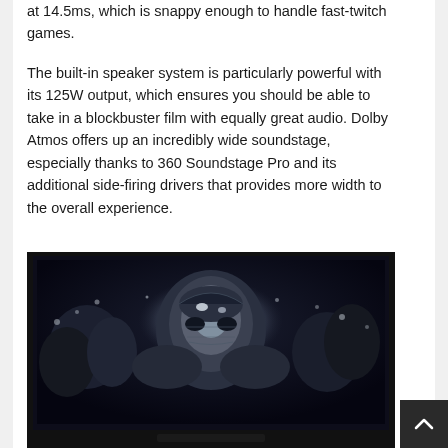at 14.5ms, which is snappy enough to handle fast-twitch games.
The built-in speaker system is particularly powerful with its 125W output, which ensures you should be able to take in a blockbuster film with equally great audio. Dolby Atmos offers up an incredibly wide soundstage, especially thanks to 360 Soundstage Pro and its additional side-firing drivers that provides more width to the overall experience.
[Figure (photo): A TV displaying a dark cinematic scene with armored figures, seen from a slight angle. The TV has a black frame and is sitting on a stand. A scroll-up button appears in the bottom right corner of the page.]